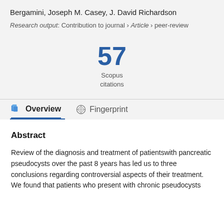Bergamini, Joseph M. Casey, J. David Richardson
Research output: Contribution to journal › Article › peer-review
57
Scopus
citations
Overview
Fingerprint
Abstract
Review of the diagnosis and treatment of patientswith pancreatic pseudocysts over the past 8 years has led us to three conclusions regarding controversial aspects of their treatment. We found that patients who present with chronic pseudocysts